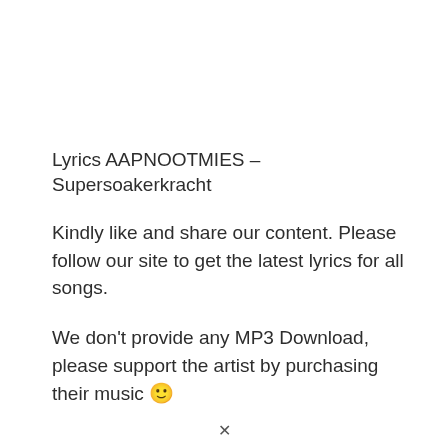Lyrics AAPNOOTMIES – Supersoakerkracht
Kindly like and share our content. Please follow our site to get the latest lyrics for all songs.
We don't provide any MP3 Download, please support the artist by purchasing their music 🙂